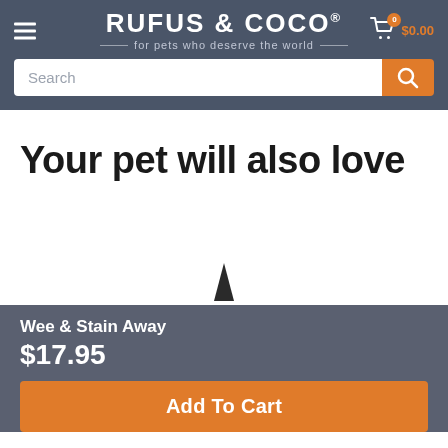RUFUS & COCO® — for pets who deserve the world — $0.00
[Figure (screenshot): Search bar with orange search button]
Your pet will also love
Wee & Stain Away
$17.95
Add To Cart